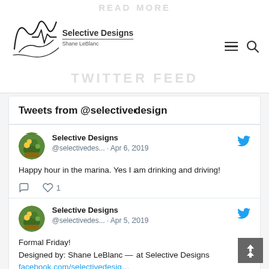Selective Designs — Shane LeBlanc
Tweets from @selectivedesign
Selective Designs @selectivedes... · Apr 6, 2019
Happy hour in the marina.  Yes I am drinking and driving!
Selective Designs @selectivedes... · Apr 5, 2019
Formal Friday!
Designed by: Shane LeBlanc — at Selective Designs facebook.com/selectivedesig…